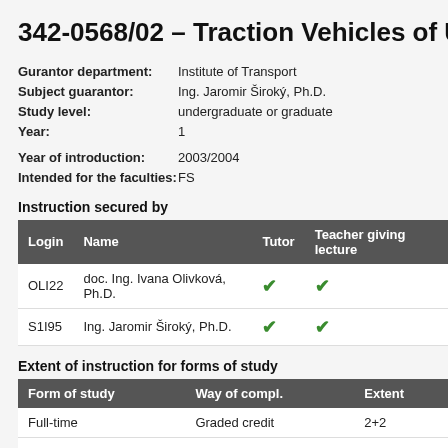342-0568/02 – Traction Vehicles of Urb...
Gurantor department: Institute of Transport
Subject guarantor: Ing. Jaromir Široký, Ph.D.
Study level: undergraduate or graduate
Year: 1
Year of introduction: 2003/2004
Intended for the faculties: FS
Instruction secured by
| Login | Name | Tutor | Teacher giving lecture |
| --- | --- | --- | --- |
| OLI22 | doc. Ing. Ivana Olivková, Ph.D. | ✔ | ✔ |
| S1I95 | Ing. Jaromir Široký, Ph.D. | ✔ | ✔ |
Extent of instruction for forms of study
| Form of study | Way of compl. | Extent |
| --- | --- | --- |
| Full-time | Graded credit | 2+2 |
| Part-time | Graded credit | 8+4 |